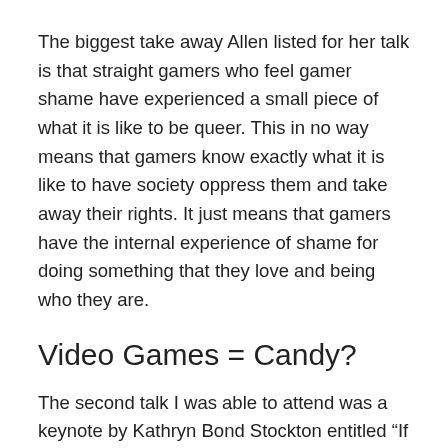The biggest take away Allen listed for her talk is that straight gamers who feel gamer shame have experienced a small piece of what it is like to be queer. This in no way means that gamers know exactly what it is like to have society oppress them and take away their rights. It just means that gamers have the internal experience of shame for doing something that they love and being who they are.
Video Games = Candy?
The second talk I was able to attend was a keynote by Kathryn Bond Stockton entitled “If Queer Children Were a Video Game”. This talk was very